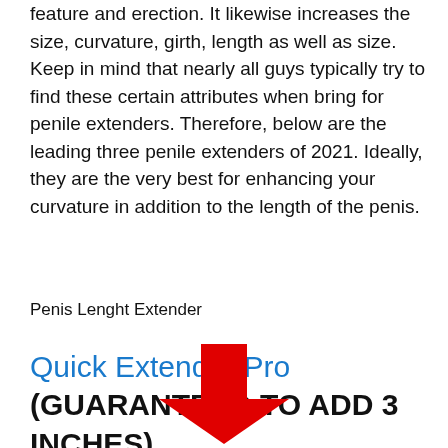feature and erection. It likewise increases the size, curvature, girth, length as well as size. Keep in mind that nearly all guys typically try to find these certain attributes when bring for penile extenders. Therefore, below are the leading three penile extenders of 2021. Ideally, they are the very best for enhancing your curvature in addition to the length of the penis.
Penis Lenght Extender
Quick Extender Pro (GUARANTEED TO ADD 3 INCHES)
[Figure (illustration): Red downward-pointing arrow icon, partially visible at the bottom of the page]